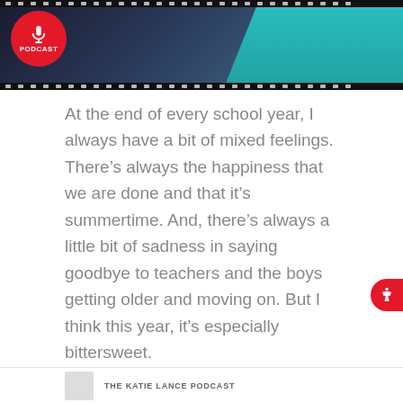[Figure (photo): Top banner image with podcast logo circle (red with microphone icon and 'PODCAST' text) on dark background with teal-colored person, framed with film strip holes top and bottom]
At the end of every school year, I always have a bit of mixed feelings. There’s always the happiness that we are done and that it’s summertime. And, there’s always a little bit of sadness in saying goodbye to teachers and the boys getting older and moving on. But I think this year, it’s especially bittersweet.
In this podcast I’m sharing a few of my thoughts about this bittersweet end of school time and how we’re transitioning into summer as a family.
THE KATIE LANCE PODCAST